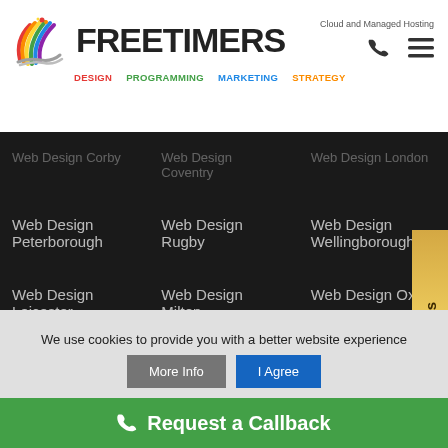[Figure (logo): Freetimers logo with colorful arc icon and text. Navigation items: DESIGN, PROGRAMMING, MARKETING, STRATEGY. Top right: Cloud and Managed Hosting, phone icon, menu icon.]
Web Design Corby
Web Design Coventry
Web Design London
Web Design Peterborough
Web Design Rugby
Web Design Wellingborough
Web Design Leicester
Web Design Milton Keynes
Web Design Ox...
Website Programming UK
We use cookies to provide you with a better website experience
More Info
I Agree
Request a Callback